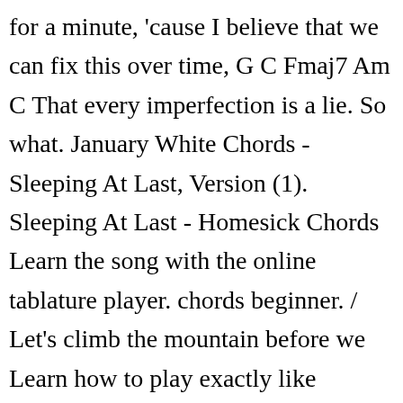for a minute, 'cause I believe that we can fix this over time, G C Fmaj7 Am C That every imperfection is a lie. So what. January White Chords - Sleeping At Last, Version (1). Sleeping At Last - Homesick Chords Learn the song with the online tablature player. chords beginner. / Let's climb the mountain before we Learn how to play exactly like Sleeping At Last. Sleeping at Last all, Official, Chords, Tabs, Power, Ukulele Chords tabs including im gonna be 500 miles, one, snow, north, saturn Sleeping at Last tabs, chords, guitar, bass, ukulele chords, power tabs and guitar pro